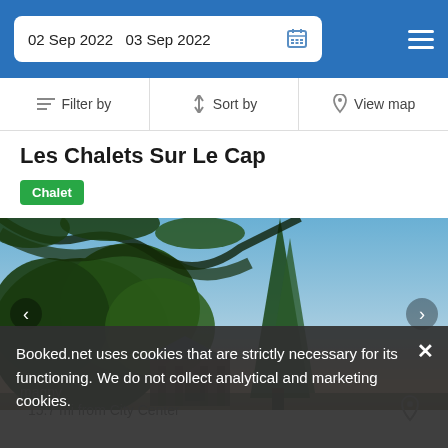02 Sep 2022  03 Sep 2022
Filter by  Sort by  View map
Les Chalets Sur Le Cap
Chalet
[Figure (photo): Outdoor photo of chalets surrounded by tall trees against a blue and pink sunset sky]
Booked.net uses cookies that are strictly necessary for its functioning. We do not collect analytical and marketing cookies.
magny
15.7 mi from City Center